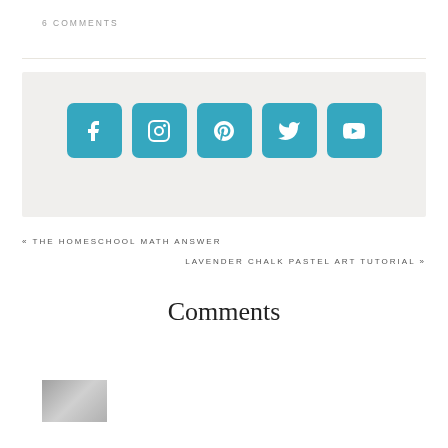6 COMMENTS
[Figure (infographic): Social media icons bar with Facebook, Instagram, Pinterest, Twitter, and YouTube icons in teal/blue rounded square buttons on a light grey background]
« THE HOMESCHOOL MATH ANSWER
LAVENDER CHALK PASTEL ART TUTORIAL »
Comments
[Figure (photo): Small thumbnail photo, partially visible at bottom of page]